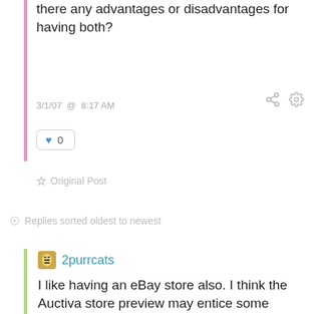there any advantages or disadvantages for having both?
3/1/07 @ 8:17 AM
♥ 0
Original Post
Replies sorted oldest to newest
2purrcats
I like having an eBay store also. I think the Auctiva store preview may entice some buyers to look at other items you are selling, but I think most of them are more likely to stay within the eBay site rather than go to the Auctiva store. I may be wrong, though! Hopefully you'll get other responses to your post. (I'll watch too.)